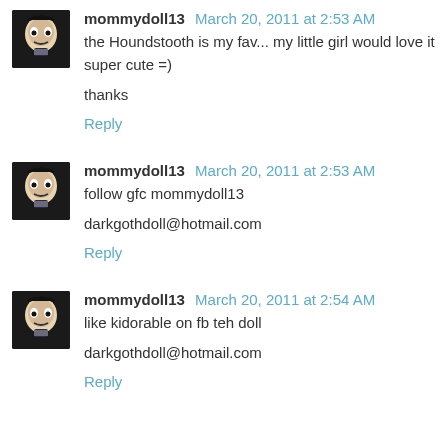[Figure (photo): Avatar image of mommydoll13 - dark gothic doll face]
mommydoll13 March 20, 2011 at 2:53 AM
the Houndstooth is my fav... my little girl would love it super cute =)

thanks
Reply
[Figure (photo): Avatar image of mommydoll13 - dark gothic doll face]
mommydoll13 March 20, 2011 at 2:53 AM
follow gfc mommydoll13

darkgothdoll@hotmail.com
Reply
[Figure (photo): Avatar image of mommydoll13 - dark gothic doll face]
mommydoll13 March 20, 2011 at 2:54 AM
like kidorable on fb teh doll

darkgothdoll@hotmail.com
Reply